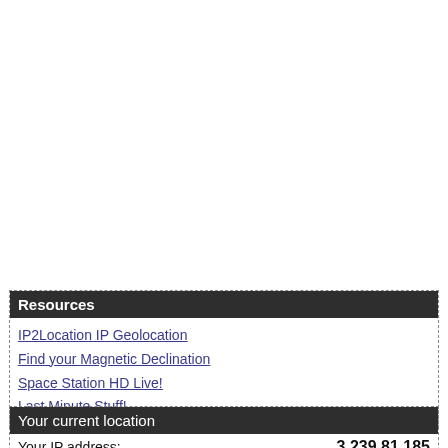Resources
IP2Location IP Geolocation
Find your Magnetic Declination
Space Station HD Live!
Last Minute Stuff!
Your current location
Your IP address: 3.239.81.185